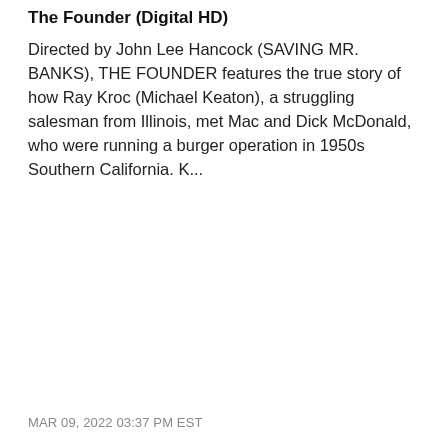The Founder (Digital HD)
Directed by John Lee Hancock (SAVING MR. BANKS), THE FOUNDER features the true story of how Ray Kroc (Michael Keaton), a struggling salesman from Illinois, met Mac and Dick McDonald, who were running a burger operation in 1950s Southern California. K...
MAR 09, 2022 03:37 PM EST